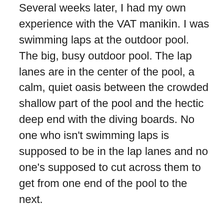Several weeks later, I had my own experience with the VAT manikin. I was swimming laps at the outdoor pool. The big, busy outdoor pool. The lap lanes are in the center of the pool, a calm, quiet oasis between the crowded shallow part of the pool and the hectic deep end with the diving boards. No one who isn't swimming laps is supposed to be in the lap lanes and no one's supposed to cut across them to get from one end of the pool to the next.

I was in the far lane, the one next to the deep end. Whenever I front crawled in this lane, I could see how the bottom of the pool dropped off, right under the rope, sloping from about five feet deep beneath me to twelve under the diving boards. At the end of the lane was a lifeguard stand. When I'd stop swimming to take a breather, I'd nonchalantly check out the guard there, to